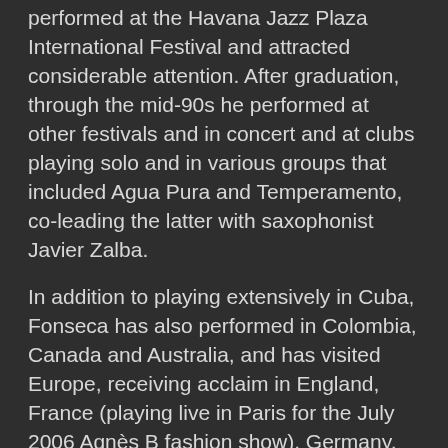performed at the Havana Jazz Plaza International Festival and attracted considerable attention. After graduation, through the mid-90s he performed at other festivals and in concert and at clubs playing solo and in various groups that included Agua Pura and Temperamento, co-leading the latter with saxophonist Javier Zalba.
In addition to playing extensively in Cuba, Fonseca has also performed in Colombia, Canada and Australia, and has visited Europe, receiving acclaim in England, France (playing live in Paris for the July 2006 Agnès B fashion show), Germany, Spain and Italy, touring the latter country with singer Augusto Enriquez, with whom he also recorded, Cuando Yo Sea Grande. Among artists with whom he has shared stages and sometimes